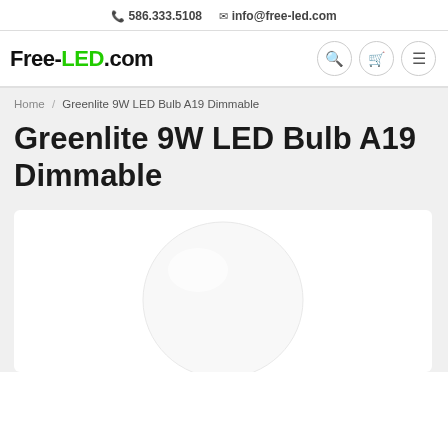📞 586.333.5108  ✉ info@free-led.com
Free-LED.com
Home / Greenlite 9W LED Bulb A19 Dimmable
Greenlite 9W LED Bulb A19 Dimmable
[Figure (photo): Product image of a white LED light bulb (A19 shape) on a white background]